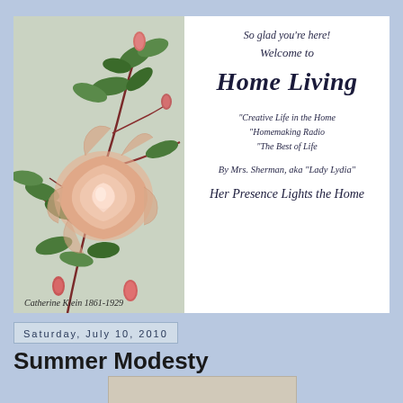[Figure (illustration): Vintage painting of pink roses with green leaves and red stems by Catherine Klein 1861-1929, watercolor style on light gray-green background]
So glad you're here!
Welcome to
Home Living
"Creative Life in the Home
"Homemaking Radio
"The Best of Life
By Mrs. Sherman, aka "Lady Lydia"
Her Presence Lights the Home
Saturday, July 10, 2010
Summer Modesty
[Figure (photo): Partial view of a vintage photograph at the bottom of the page]